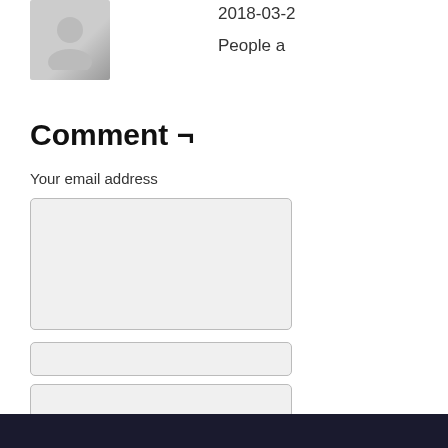2018-03-2
People a
Comment ¬
Your email address
[Figure (other): Comment form with textarea, three input fields, two checkboxes (Save my name, Notify me of new), and a Post Comment button]
Save my name,
Notify me of new
Post Comment
©2006-2022 PS238 by